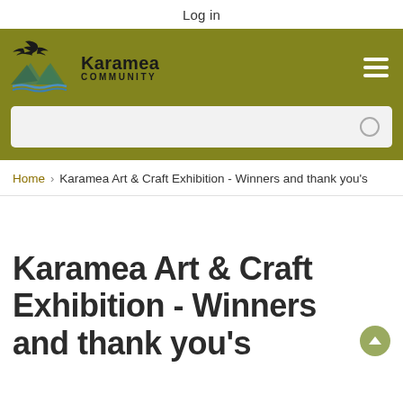Log in
[Figure (logo): Karamea Community logo with eagle silhouette over mountain peaks and water, olive green background, with hamburger menu icon and search bar]
Home › Karamea Art & Craft Exhibition - Winners and thank you's
Karamea Art & Craft Exhibition - Winners and thank you's